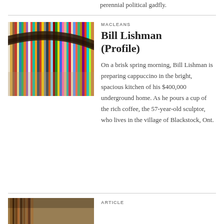perennial political gadfly.
[Figure (photo): Close-up photo of colorful vinyl records or book spines tightly packed together, with a curved rim visible in the foreground]
MACLEANS
Bill Lishman (Profile)
On a brisk spring morning, Bill Lishman is preparing cappuccino in the bright, spacious kitchen of his $400,000 underground home. As he pours a cup of the rich coffee, the 57-year-old sculptor, who lives in the village of Blackstock, Ont.
[Figure (photo): Partial view of another article image at bottom of page]
ARTICLE